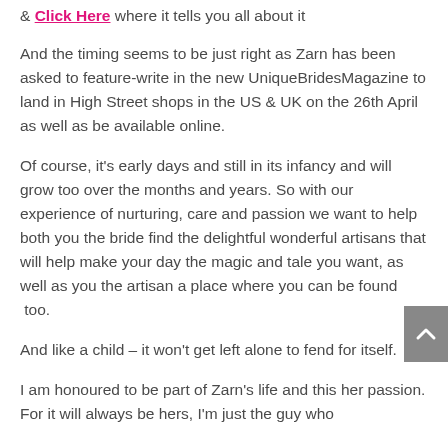& Click Here where it tells you all about it
And the timing seems to be just right as Zarn has been asked to feature-write in the new UniqueBridesMagazine to land in High Street shops in the US & UK on the 26th April as well as be available online.
Of course, it's early days and still in its infancy and will grow too over the months and years. So with our experience of nurturing, care and passion we want to help both you the bride find the delightful wonderful artisans that will help make your day the magic and tale you want, as well as you the artisan a place where you can be found  too.
And like a child – it won't get left alone to fend for itself.
I am honoured to be part of Zarn's life and this her passion. For it will always be hers, I'm just the guy who